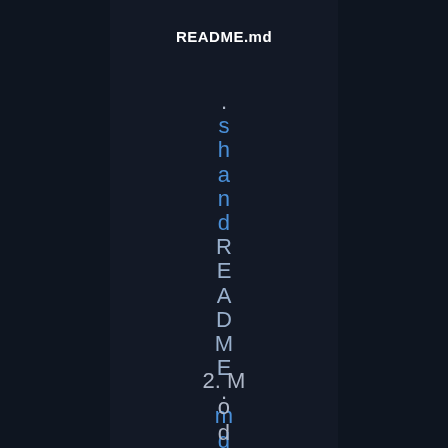README.md
. s h a n d R E A D M E . m d .
2. Mod